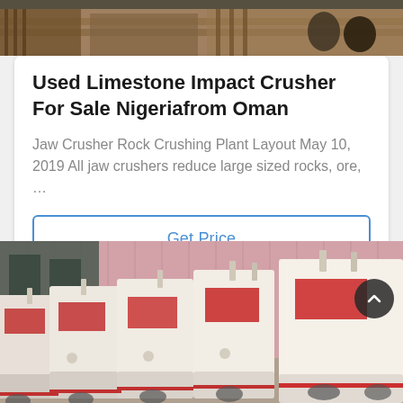[Figure (photo): Top partial view of industrial equipment or machinery in a warehouse setting, showing wooden pallets and equipment.]
Used Limestone Impact Crusher For Sale Nigeriafrom Oman
Jaw Crusher Rock Crushing Plant Layout May 10, 2019 All jaw crushers reduce large sized rocks, ore, …
Get Price
[Figure (photo): Row of white and red impact crusher machines lined up outdoors in front of a pink/grey corrugated metal industrial building.]